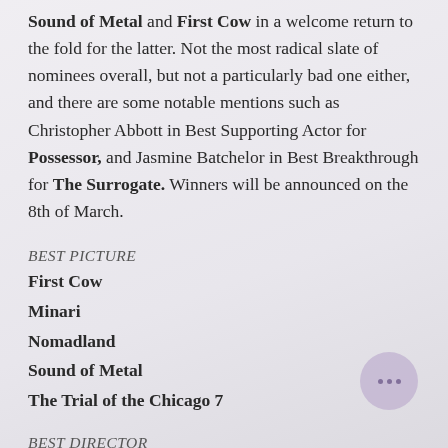Sound of Metal and First Cow in a welcome return to the fold for the latter. Not the most radical slate of nominees overall, but not a particularly bad one either, and there are some notable mentions such as Christopher Abbott in Best Supporting Actor for Possessor, and Jasmine Batchelor in Best Breakthrough for The Surrogate. Winners will be announced on the 8th of March.
BEST PICTURE
First Cow
Minari
Nomadland
Sound of Metal
The Trial of the Chicago 7
BEST DIRECTOR